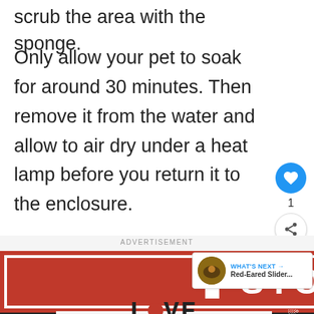scrub the area with the sponge.
Only allow your pet to soak for around 30 minutes. Then remove it from the water and allow to air dry under a heat lamp before you return it to the enclosure.
[Figure (screenshot): Advertisement banner with red background showing 'STOP' text logo and 'LOVE' text below, with a 'What's Next' bubble showing Red-Eared Slider thumbnail]